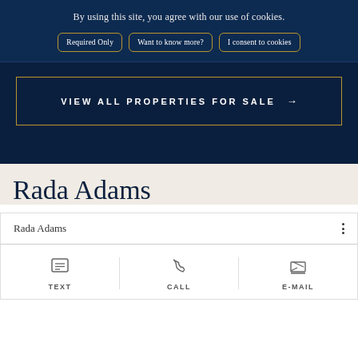By using this site, you agree with our use of cookies.
Required Only | Want to know more? | I consent to cookies
VIEW ALL PROPERTIES FOR SALE →
Rada Adams
Rada Adams
TEXT | CALL | E-MAIL